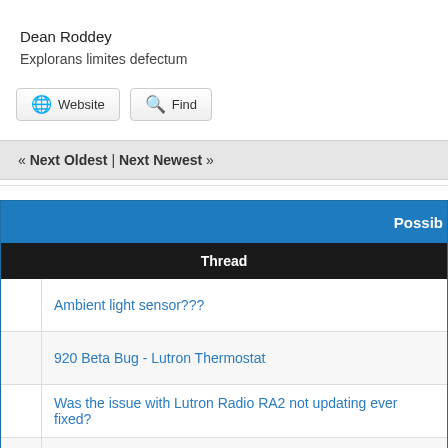Dean Roddey
Explorans limites defectum
Website   Find
« Next Oldest | Next Newest »
Possib
Thread
Ambient light sensor???
920 Beta Bug - Lutron Thermostat
Was the issue with Lutron Radio RA2 not updating ever fixed?
Lutron Caseta Add Fan and Shade Controllers
Lutron Caseta Occupancy Sensor